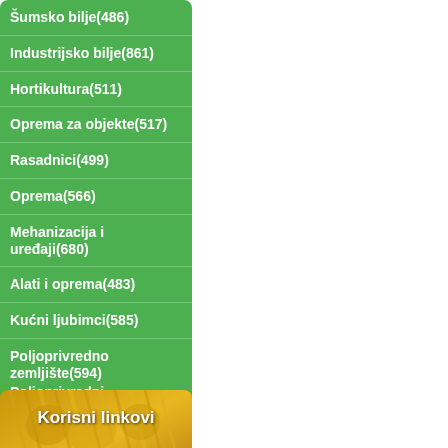Šumsko bilje(486)
Industrijsko bilje(861)
Hortikultura(511)
Oprema za objekte(517)
Rasadnici(499)
Oprema(566)
Mehanizacija i uređaji(680)
Alati i oprema(483)
Kućni ljubimci(585)
Poljoprivredno zemljište(594)
Poljoprivredni objekti(533)
Usluge(10230)
Razno(3807)
[Figure (photo): Banner image with golden/yellow grain or straw in background, green wave overlay at bottom, title 'Korisni linkovi', and links including 'Borovica' and partially visible second link]
Borovica
jagode.org